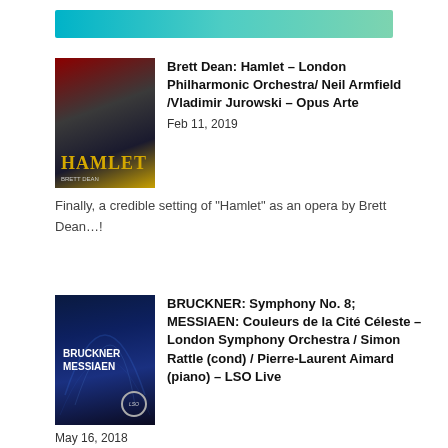[Figure (other): Teal/cyan gradient header bar]
[Figure (illustration): Hamlet opera album cover with dark theatrical imagery and gold 'HAMLET' text]
Brett Dean: Hamlet – London Philharmonic Orchestra/ Neil Armfield /Vladimir Jurowski – Opus Arte
Feb 11, 2019
Finally, a credible setting of “Hamlet” as an opera by Brett Dean…!
[Figure (illustration): Bruckner/Messiaen LSO Live album cover with dark blue background and swirling light design]
BRUCKNER: Symphony No. 8; MESSIAEN: Couleurs de la Cité Céleste – London Symphony Orchestra / Simon Rattle (cond) / Pierre-Laurent Aimard (piano) – LSO Live
May 16, 2018
Two very different…